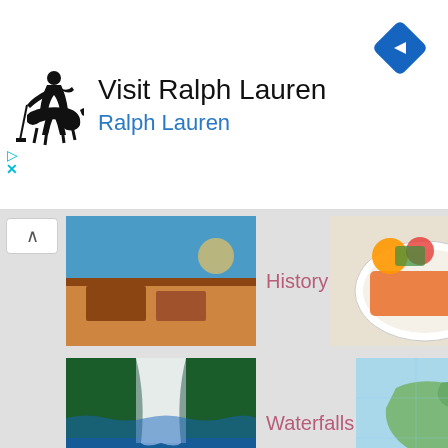[Figure (screenshot): Ralph Lauren advertisement banner with polo player logo, title 'Visit Ralph Lauren', subtitle 'Ralph Lauren' in blue, blue navigation diamond icon top right, and cyan play/close controls on left side]
[Figure (screenshot): Travel/tourism website grid showing categories: History, Dining, Waterfalls, Map, All Inclusive Resorts, San Fernando, Blanchisseuse, Fort King George with thumbnail photos for each category]
History
Dining
Waterfalls
Map
All Inclusive Resorts
San Fernando
Blanchisseuse
Fort King George